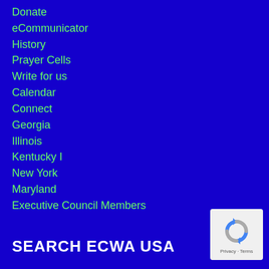Donate
eCommunicator
History
Prayer Cells
Write for us
Calendar
Connect
Georgia
Illinois
Kentucky I
New York
Maryland
Executive Council Members
SEARCH ECWA USA
[Figure (logo): reCAPTCHA logo with Privacy - Terms text]